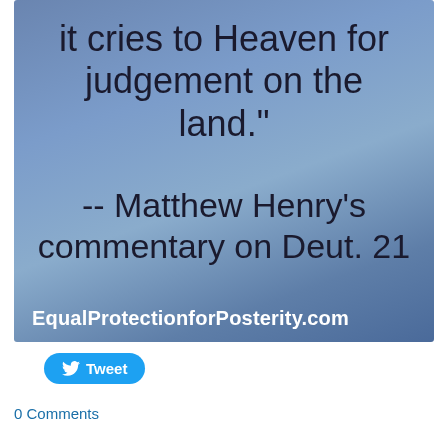[Figure (infographic): Blue gradient background image with dark text quote 'it cries to Heaven for judgement on the land.' and attribution '-- Matthew Henry's commentary on Deut. 21', with website URL 'EqualProtectionforPosterity.com' at the bottom.]
Tweet
0 Comments